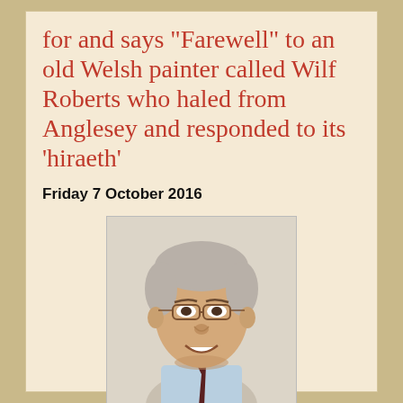for and says "Farewell" to an old Welsh painter called Wilf Roberts who haled from Anglesey and responded to its 'hiraeth'
Friday 7 October 2016
[Figure (photo): Portrait photo of an elderly man with grey-white hair, wearing glasses and a light blue shirt with a dark tie, smiling at the camera.]